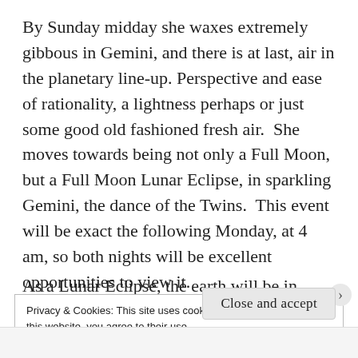By Sunday midday she waxes extremely gibbous in Gemini, and there is at last, air in the planetary line-up. Perspective and ease of rationality, a lightness perhaps or just some good old fashioned fresh air.  She moves towards being not only a Full Moon, but a Full Moon Lunar Eclipse, in sparkling Gemini, the dance of the Twins.  This event will be exact the following Monday, at 4 am, so both nights will be excellent opportunities to view it.
As a Lunar Eclipse, the earth will be in between the
Privacy & Cookies: This site uses cookies. By continuing to use this website, you agree to their use.
To find out more, including how to control cookies, see here:
Cookie Policy
Close and accept